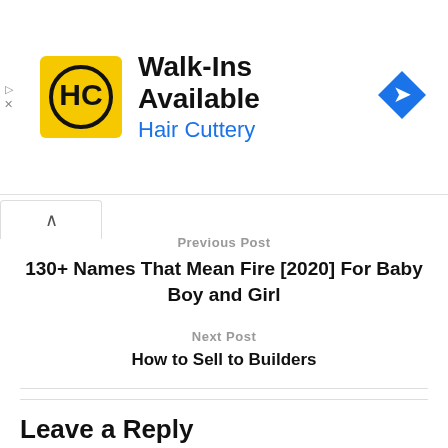[Figure (other): Hair Cuttery advertisement banner with yellow HC logo, text 'Walk-Ins Available' and 'Hair Cuttery', and a blue navigation arrow icon on the right]
Previous Post
130+ Names That Mean Fire [2020] For Baby Boy and Girl
Next Post
How to Sell to Builders
Leave a Reply
Your email address will not be published. Required fields are marked *